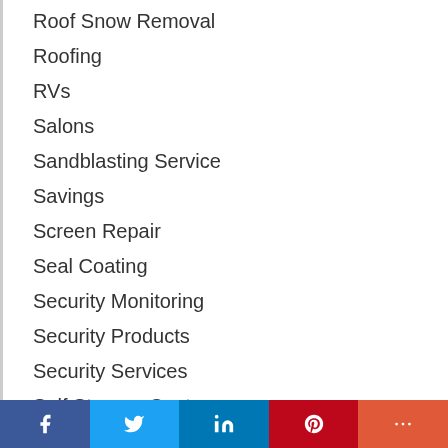Roof Snow Removal
Roofing
RVs
Salons
Sandblasting Service
Savings
Screen Repair
Seal Coating
Security Monitoring
Security Products
Security Services
Self Storage Centers
Senior care
Senior Living